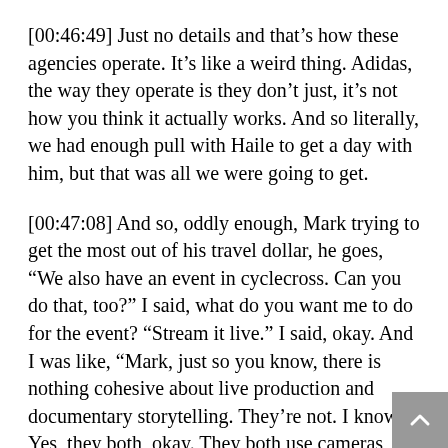[00:46:49] Just no details and that’s how these agencies operate. It’s like a weird thing. Adidas, the way they operate is they don’t just, it’s not how you think it actually works. And so literally, we had enough pull with Haile to get a day with him, but that was all we were going to get.
[00:47:08] And so, oddly enough, Mark trying to get the most out of his travel dollar, he goes, “We also have an event in cyclecross. Can you do that, too?” I said, what do you want me to do for the event? “Stream it live.” I said, okay. And I was like, “Mark, just so you know, there is nothing cohesive about live production and documentary storytelling. They’re not. I know. Yes, they both, okay. They both use cameras, but there’s where all the relationship stops.” But he was just like,